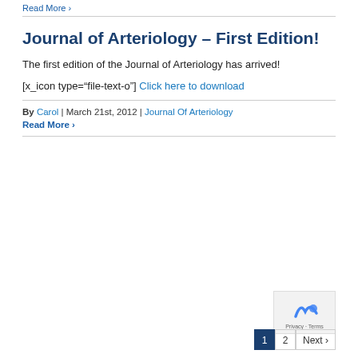Read More >
Journal of Arteriology – First Edition!
The first edition of the Journal of Arteriology has arrived!
[x_icon type="file-text-o"] Click here to download
By Carol | March 21st, 2012 | Journal Of Arteriology
Read More >
1  2  Next >